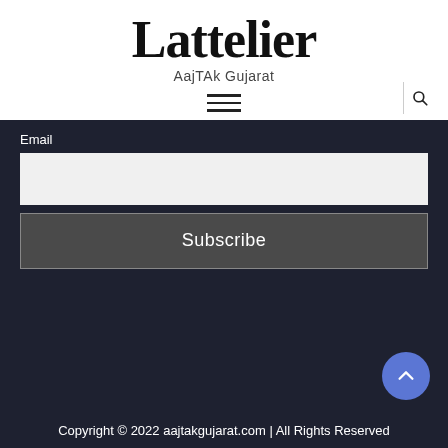Lattelier
AajTAk Gujarat
[Figure (other): Hamburger menu icon (three horizontal lines)]
[Figure (other): Search icon (magnifying glass)]
Email
Subscribe
Copyright © 2022 aajtakgujarat.com | All Rights Reserved